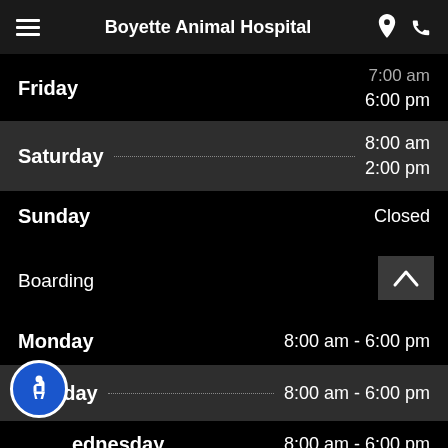Boyette Animal Hospital
| Day | Hours |
| --- | --- |
| Friday | 7:00 am / 6:00 pm |
| Saturday | 8:00 am / 2:00 pm |
| Sunday | Closed |
Boarding
| Day | Hours |
| --- | --- |
| Monday | 8:00 am - 6:00 pm |
| Tuesday | 8:00 am - 6:00 pm |
| Wednesday | 8:00 am - 6:00 pm |